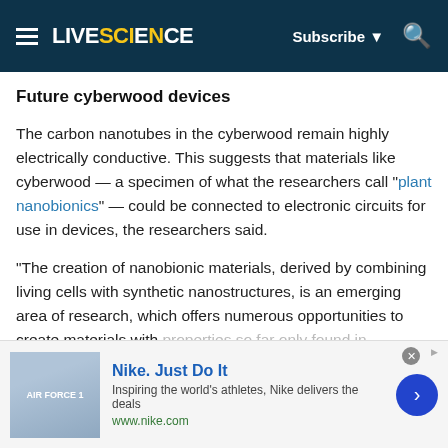LIVESCIENCE | Subscribe | Search
Future cyberwood devices
The carbon nanotubes in the cyberwood remain highly electrically conductive. This suggests that materials like cyberwood — a specimen of what the researchers call "plant nanobionics" — could be connected to electronic circuits for use in devices, the researchers said.
"The creation of nanobionic materials, derived by combining living cells with synthetic nanostructures, is an emerging area of research, which offers numerous opportunities to create materials with properties so far only found in biological materials."
[Figure (screenshot): Nike advertisement banner: 'Nike. Just Do It' with tagline 'Inspiring the world's athletes, Nike delivers the deals' and url www.nike.com, with shoe product image on left and blue arrow button on right.]